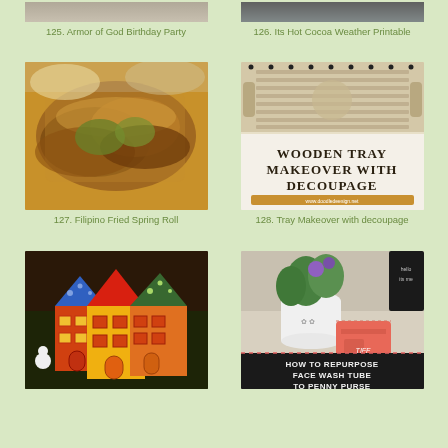[Figure (photo): Partial view of Armor of God Birthday Party image at top]
125. Armor of God Birthday Party
[Figure (photo): Partial view of Its Hot Cocoa Weather Printable image at top]
126. Its Hot Cocoa Weather Printable
[Figure (photo): Filipino Fried Spring Roll - close-up photo of fried spring rolls on a plate]
127. Filipino Fried Spring Roll
[Figure (photo): Wooden tray makeover with decoupage - wooden tray with text overlay reading WOODEN TRAY MAKEOVER WITH DECOUPAGE]
128. Tray Makeover with decoupage
[Figure (photo): Colorful painted wooden house blocks in orange, yellow, and green with triangle roofs]
[Figure (photo): How to repurpose face wash tube to penny purse - plant pot with pink pouch and chalkboard sign]